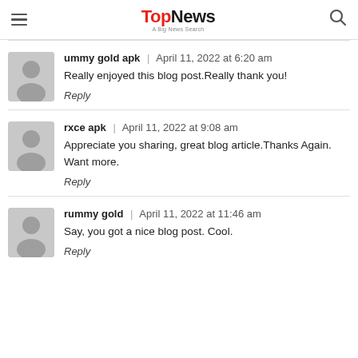TopNews - A Big News Search
ummy gold apk | April 11, 2022 at 6:20 am
Really enjoyed this blog post.Really thank you!
Reply
rxce apk | April 11, 2022 at 9:08 am
Appreciate you sharing, great blog article.Thanks Again. Want more.
Reply
rummy gold | April 11, 2022 at 11:46 am
Say, you got a nice blog post. Cool.
Reply